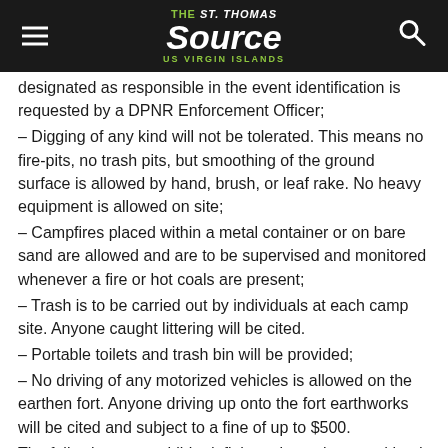The St. Thomas Source — US Virgin Islands
designated as responsible in the event identification is requested by a DPNR Enforcement Officer;
– Digging of any kind will not be tolerated. This means no fire-pits, no trash pits, but smoothing of the ground surface is allowed by hand, brush, or leaf rake. No heavy equipment is allowed on site;
– Campfires placed within a metal container or on bare sand are allowed and are to be supervised and monitored whenever a fire or hot coals are present;
– Trash is to be carried out by individuals at each camp site. Anyone caught littering will be cited.
– Portable toilets and trash bin will be provided;
– No driving of any motorized vehicles is allowed on the earthen fort. Anyone driving up onto the fort earthworks will be cited and subject to a fine of up to $500.
The following are prohibited: fights, altercations, and loud